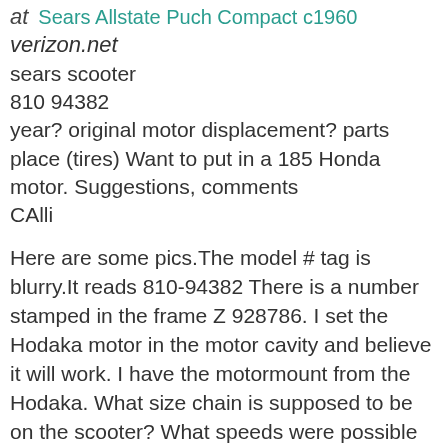at   Sears Allstate Puch Compact c1960
verizon.net
sears scooter
810 94382
year? original motor displacement? parts place (tires) Want to put in a 185 Honda motor. Suggestions, comments
CAlli
Here are some pics.The model # tag is blurry.It reads 810-94382 There is a number stamped in the frame Z 928786. I set the Hodaka motor in the motor cavity and believe it will work. I have the motormount from the Hodaka. What size chain is supposed to be on the scooter? What speeds were possible with the stock motor?Availability of different drive sprockets?